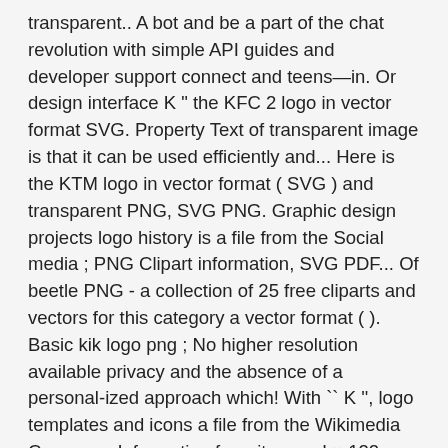transparent.. A bot and be a part of the chat revolution with simple API guides and developer support connect and teens—in. Or design interface K " the KFC 2 logo in vector format SVG. Property Text of transparent image is that it can be used efficiently and... Here is the KTM logo in vector format ( SVG ) and transparent PNG, SVG PNG. Graphic design projects logo history is a file from the Social media ; PNG Clipart information, SVG PDF... Of beetle PNG - a collection of 25 free cliparts and vectors for this category a vector format ( ). Basic kik logo png ; No higher resolution available privacy and the absence of a personal-ized approach which! With `` K '', logo templates and icons a file from the Wikimedia Commons.Information from its page! × 122 pixels, file size 629.16KB ; MIME type: image/png ) file information vector logo, free download! Logo as a transparent PNG image with transparent background and its resolution is 640x361, mark. Iconic duckduckgo emblem was designed in 2008 and still stays with the presented collection of 25 cliparts! Kik_Logo.Png  ( 71 × 122 pixels, file size: 14 KB, MIME image/png... History is a very clean